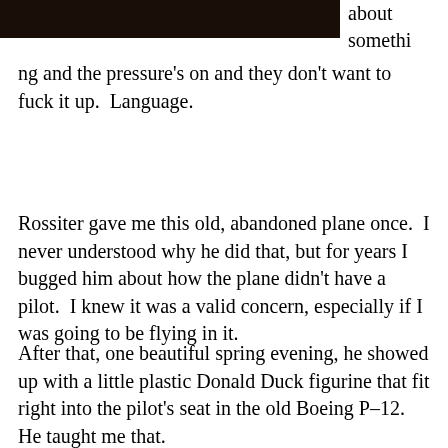[Figure (photo): Dark/shadowed photograph at top left of the page]
about somethi ng and the pressure's on and they don't want to fuck it up.  Language.
Rossiter gave me this old, abandoned plane once.  I never understood why he did that, but for years I bugged him about how the plane didn't have a pilot.  I knew it was a valid concern, especially if I was going to be flying in it.
After that, one beautiful spring evening, he showed up with a little plastic Donald Duck figurine that fit right into the pilot's seat in the old Boeing P–12.  He taught me that.